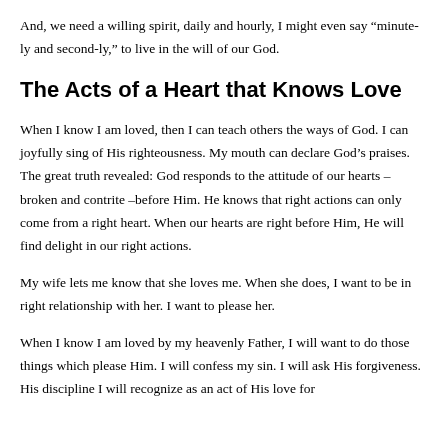And, we need a willing spirit, daily and hourly, I might even say “minute-ly and second-ly,” to live in the will of our God.
The Acts of a Heart that Knows Love
When I know I am loved, then I can teach others the ways of God. I can joyfully sing of His righteousness. My mouth can declare God’s praises. The great truth revealed: God responds to the attitude of our hearts – broken and contrite –before Him. He knows that right actions can only come from a right heart. When our hearts are right before Him, He will find delight in our right actions.
My wife lets me know that she loves me. When she does, I want to be in right relationship with her. I want to please her.
When I know I am loved by my heavenly Father, I will want to do those things which please Him. I will confess my sin. I will ask His forgiveness. His discipline I will recognize as an act of His love for